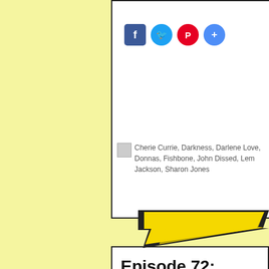[Figure (screenshot): Social share buttons: Facebook (blue), Twitter (blue), Pinterest (red), Share (blue+)]
Cherie Currie, Darkness, Darlene Love, Donnas, Fishbone, John Dissed, Lem...Jackson, Sharon Jones
[Figure (illustration): Yellow lightning bolt zigzag graphic on white/yellow background]
Episode 72: Heavy Metal Soul
March 22, 2013  Joey  New Episodes
Ten songs by artists that are still leading the pack in heavy based soul mus...
Go type in all of these artists on iTunes, Amazon, Pandora, AllMusic.com, e...
For more information or to join please go to
BRC Productions
Listen Here